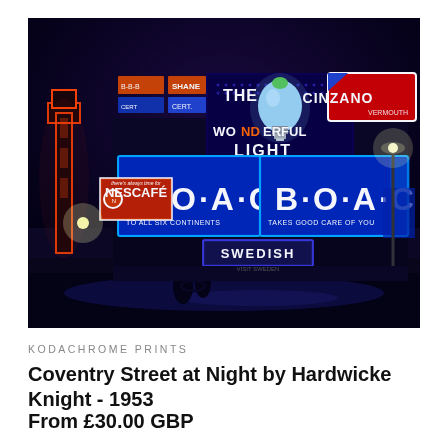[Figure (photo): Night photograph of Coventry Street, London, 1953. A building corner is covered in bright neon signs including BOAC 'Fly BOAC' airline advertising in blue and red, Cinzano Vermouth in red and white, 'The Wonderful Light' with a light bulb graphic, Nescafe, and Swedish. Orange neon tower visible on left. Dark night sky background.]
KODACHROME PRINTS
Coventry Street at Night by Hardwicke Knight - 1953
From £30.00 GBP